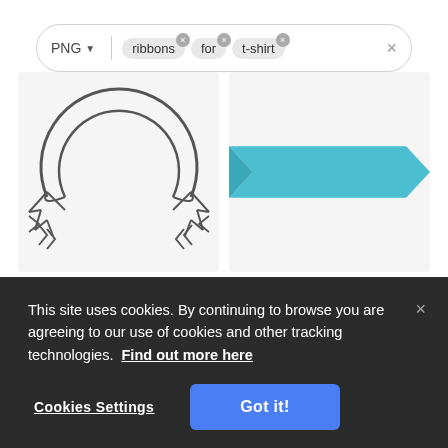[Figure (screenshot): Search bar with PNG format selector, chips for 'ribbons', 'for', 't-shirt', and a close X button]
[Figure (illustration): Circular ribbon with downward-pointing arrows at the bottom ends, outlined in dark gray on light gray background]
[Figure (illustration): Teal/cyan horizontal banner ribbon with notched ends on light gray background]
[Figure (photo): Partially visible image row below, cropped by cookie banner]
This site uses cookies. By continuing to browse you are agreeing to our use of cookies and other tracking technologies. Find out more here
Cookies Settings
Got it!